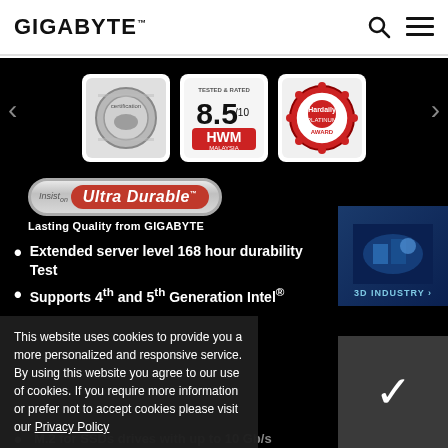GIGABYTE
[Figure (logo): Three award badges: a silver certification badge, HWM Malaysia 8.5/10 tested & rated badge, and Hardaily Platinum Award badge]
[Figure (logo): Insist on Ultra Durable badge with text 'Lasting Quality from GIGABYTE']
Extended server level 168 hour durability Test
Supports 4th and 5th Generation Intel®
This website uses cookies to provide you a more personalized and responsive service. By using this website you agree to our use of cookies. If you require more information or prefer not to accept cookies please visit our Privacy Policy
M.2 for SSDs drives with up to 10 Gb/s